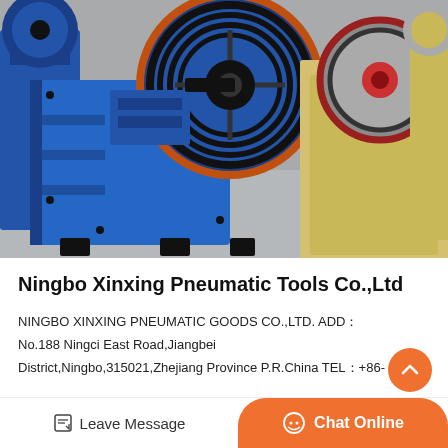[Figure (photo): Industrial jaw crusher machines in blue and beige/yellow colors on a factory floor. Large blue crusher with prominent black and orange flywheel/pulley in center, yellow/beige crusher units on right, blue machinery on left.]
Ningbo Xinxing Pneumatic Tools Co.,Ltd
NINGBO XINXING PNEUMATIC GOODS CO.,LTD. ADD：No.188 Ningci East Road,Jiangbei District,Ningbo,315021,Zhejiang Province P.R.China TEL：+86-
Leave Message
Chat Online